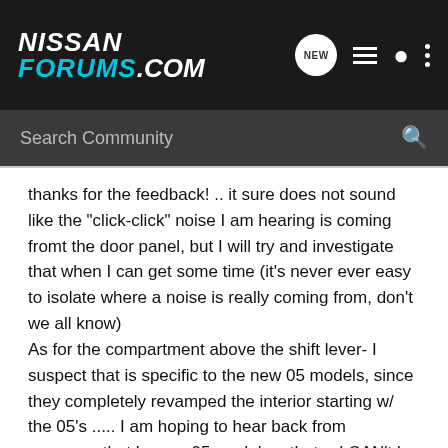NISSAN FORUMS.COM
thanks for the feedback! .. it sure does not sound like the "click-click" noise I am hearing is coming fromt the door panel, but I will try and investigate that when I can get some time (it's never ever easy to isolate where a noise is really coming from, don't we all know)
As for the compartment above the shift lever- I suspect that is specific to the new 05 models, since they completely revamped the interior starting w/ the 05's ..... I am hoping to hear back from someone that has an 05 model on that -- I CAN't be the only one experiencing that (!) ...seems like all the 05's would have the same exact problem - that is unless you live in Florida or southern cal. where it's 60+ degrees year round, in which case it would never become a problem since that one seems to be temp. dependent in a big way.